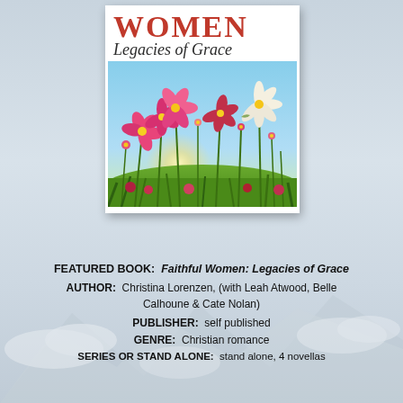[Figure (illustration): Book cover for 'Faithful Women: Legacies of Grace' showing the word WOMEN in large red serif letters, subtitle 'Legacies of Grace' in italic script, and a photo of a wildflower field with pink cosmos flowers, green grass, and sunlight in a blue sky.]
FEATURED BOOK: Faithful Women: Legacies of Grace
AUTHOR: Christina Lorenzen, (with Leah Atwood, Belle Calhoune & Cate Nolan)
PUBLISHER: self published
GENRE: Christian romance
SERIES OR STAND ALONE: stand alone, 4 novellas